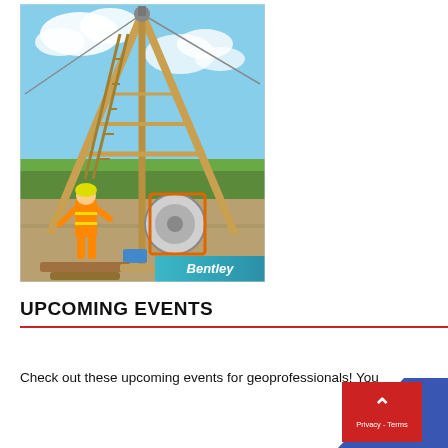[Figure (photo): A construction site photo showing a worker in orange high-visibility safety gear working near a tall wooden tripod drilling rig structure. The rig has cables and a ladder. A wheeled vehicle or cart is visible at the base. Green fields and blue sky with clouds are in the background. A 'Bentley' branded banner is at the bottom right of the image.]
UPCOMING EVENTS
Check out these upcoming events for geoprofessionals! You